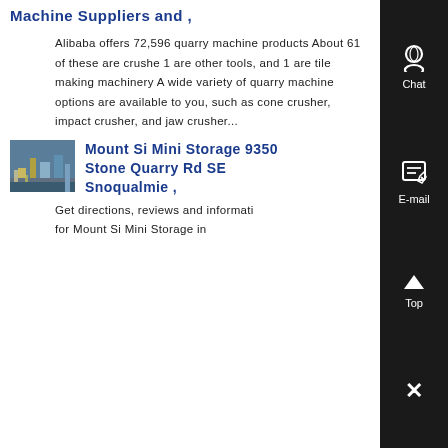Machine Suppliers and ,
Alibaba offers 72,596 quarry machine products About 61 of these are crushe 1 are other tools, and 1 are tile making machinery A wide variety of quarry machine options are available to you, such as cone crusher, impact crusher, and jaw crusher...
[Figure (photo): Thumbnail photo of an industrial quarry or storage facility]
Mount Si Mini Storage 9350 Stone Quarry Rd SE Snoqualmie ,
Get directions, reviews and informati for Mount Si Mini Storage in